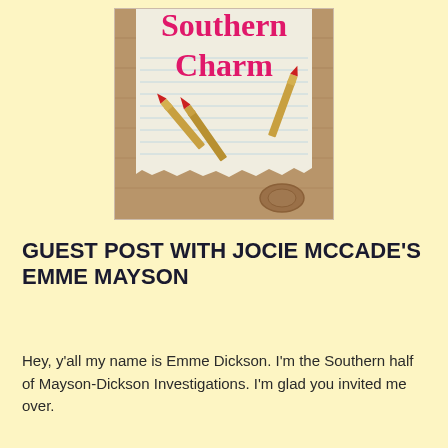[Figure (illustration): Book cover for 'Southern Charm' showing the title in pink serif font on a torn piece of lined paper, with bullet casings styled as lipsticks arranged on a wooden background.]
GUEST POST WITH JOCIE MCCADE'S EMME MAYSON
Hey, y'all my name is Emme Dickson. I'm the Southern half of Mayson-Dickson Investigations. I'm glad you invited me over.